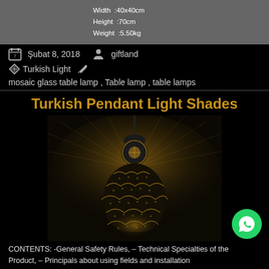[Figure (photo): Top portion of a product image showing specifications: Width :40x40cm, Height :70cm, Weight :5.50kg on a grey background]
Şubat 8, 2018   giftland
Turkish Light   mosaic glass table lamp , Table lamp , table lamps
Turkish Pendant Light Shades
[Figure (photo): Decorative Turkish mosaic pendant lamp glowing with intricate patterned light projections on a dark background. The lamp has a bulb/gourd shape with detailed metalwork.]
CONTENTS: -General Safety Rules, – Technical Specialties of the Product, – Principals about using fields and installation